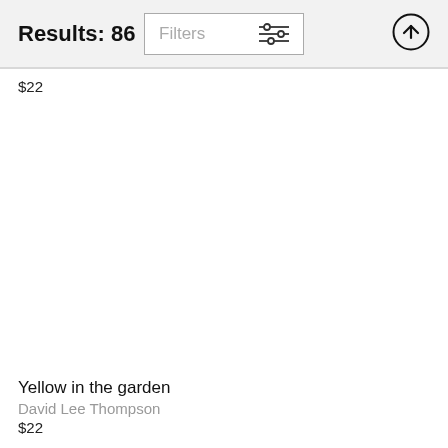Results: 86
Filters
$22
Yellow in the garden
David Lee Thompson
$22